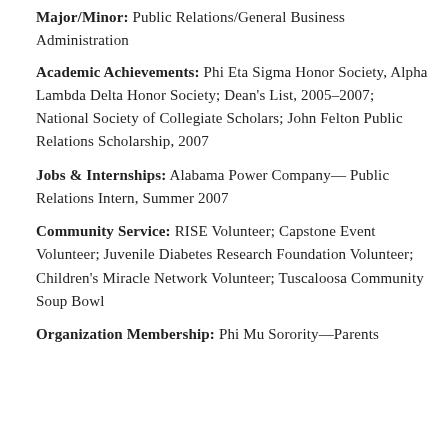Major/Minor: Public Relations/General Business Administration
Academic Achievements: Phi Eta Sigma Honor Society, Alpha Lambda Delta Honor Society; Dean's List, 2005–2007; National Society of Collegiate Scholars; John Felton Public Relations Scholarship, 2007
Jobs & Internships: Alabama Power Company—Public Relations Intern, Summer 2007
Community Service: RISE Volunteer; Capstone Event Volunteer; Juvenile Diabetes Research Foundation Volunteer; Children's Miracle Network Volunteer; Tuscaloosa Community Soup Bowl
Organization Membership: Phi Mu Sorority—Parents